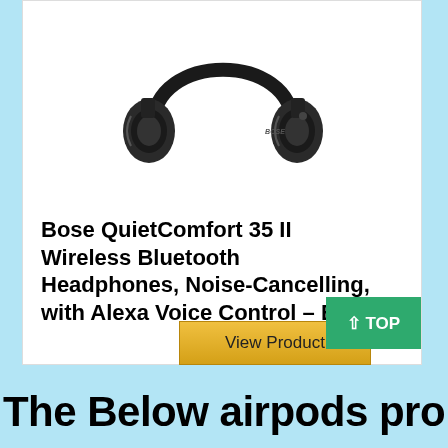[Figure (photo): Bose QuietComfort 35 II over-ear wireless headphones in black, shown from front at slight angle]
Bose QuietComfort 35 II Wireless Bluetooth Headphones, Noise-Cancelling, with Alexa Voice Control – Black
↑ TOP
View Product
The Below airpods pro